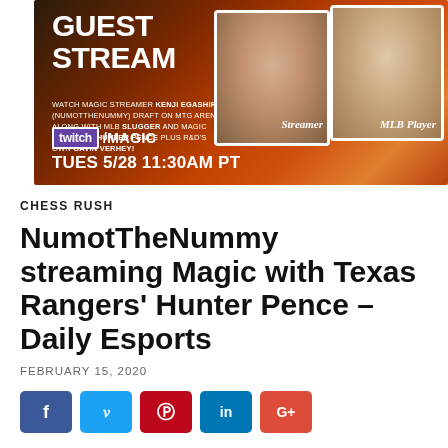[Figure (photo): Promotional banner for a Twitch guest stream on twitch/Magic featuring Magic streamer Kenji Egashira (NumotTheNummy) and MLB player Hunter Pence, scheduled TUES 5/28 11:30AM PT]
CHESS RUSH
NumotTheNummy streaming Magic with Texas Rangers' Hunter Pence – Daily Esports
FEBRUARY 15, 2020
[Figure (other): Social sharing buttons: Facebook (f), Twitter (bird), Pinterest (P), LinkedIn (in), Google+ (G+)]
Kenji Egashira, additionally identified by his pseudonym